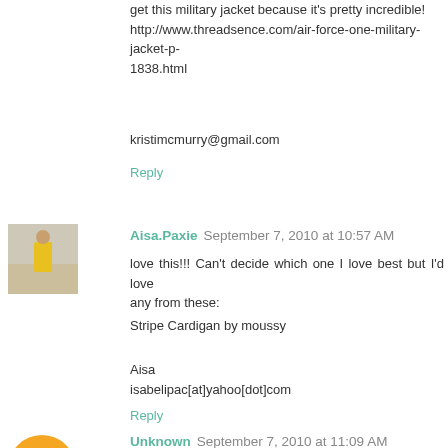get this military jacket because it's pretty incredible! http://www.threadsence.com/air-force-one-military-jacket-p-1838.html
kristimcmurry@gmail.com
Reply
Aisa.Paxie  September 7, 2010 at 10:57 AM
love this!!! Can't decide which one I love best but I'd love any from these:
Stripe Cardigan by moussy
Aisa
isabelipac[at]yahoo[dot]com
Reply
Unknown  September 7, 2010 at 11:09 AM
I would totally get the denim button skirt and the floral